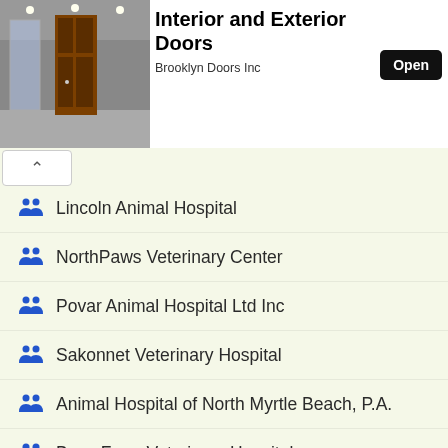[Figure (photo): Advertisement banner showing interior door showroom with wooden doors, title 'Interior and Exterior Doors', company name 'Brooklyn Doors Inc', and an Open button]
Lincoln Animal Hospital
NorthPaws Veterinary Center
Povar Animal Hospital Ltd Inc
Sakonnet Veterinary Hospital
Animal Hospital of North Myrtle Beach, P.A.
Bees Ferry Veterinary Hospital
Bluffton Veterinary Hospital
VCA Charles Towne Animal Hospital
Cherokee Trail Veterinary Hospital
Cleveland Park Animal Hospital of Travelers Rest